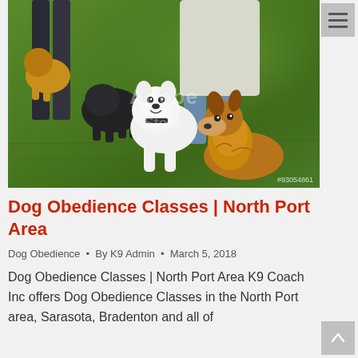[Figure (photo): Group of dogs on grass with people standing behind them. A white fluffy dog (Samoyed) sits in the center-left, a Shetland sheepdog/Collie sits to the right, and a dark dog is visible behind them. People's legs and torsos are partially visible. Adobe Stock watermark overlay. Stock ID #93054861.]
Dog Obedience Classes | North Port Area
Dog Obedience • By K9 Admin • March 5, 2018
Dog Obedience Classes | North Port Area K9 Coach Inc offers Dog Obedience Classes in the North Port area, Sarasota, Bradenton and all of